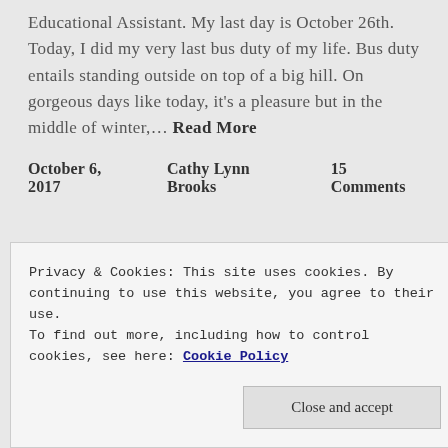Educational Assistant. My last day is October 26th. Today, I did my very last bus duty of my life. Bus duty entails standing outside on top of a big hill. On gorgeous days like today, it's a pleasure but in the middle of winter,… Read More
October 6, 2017   Cathy Lynn Brooks   15 Comments
OLDER POSTS
Privacy & Cookies: This site uses cookies. By continuing to use this website, you agree to their use.
To find out more, including how to control cookies, see here: Cookie Policy
Close and accept